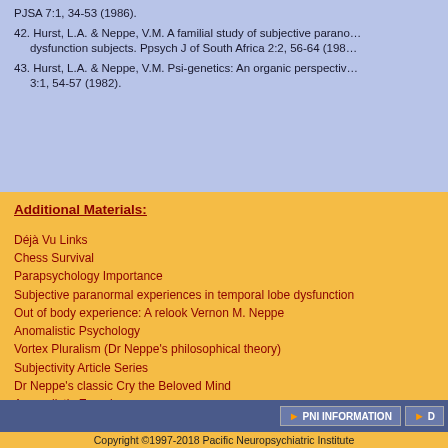PJSA 7:1, 34-53 (1986).
42. Hurst, L.A. & Neppe, V.M. A familial study of subjective paranormal dysfunction subjects. Ppsych J of South Africa 2:2, 56-64 (198...
43. Hurst, L.A. & Neppe, V.M. Psi-genetics: An organic perspective 3:1, 54-57 (1982).
Additional Materials:
Déjà Vu Links
Chess Survival
Parapsychology Importance
Subjective paranormal experiences in temporal lobe dysfunction
Out of body experience: A relook Vernon M. Neppe
Anomalistic Psychology
Vortex Pluralism (Dr Neppe's philosophical theory)
Subjectivity Article Series
Dr Neppe's classic Cry the Beloved Mind
Anomalistic Experience
SEATTLE phenomenological research
Neuroscience reductionism critique
Out of body experience: A new classification.
Déjà Vu Neologisms
Copyright ©1997-2018 Pacific Neuropsychiatric Institute